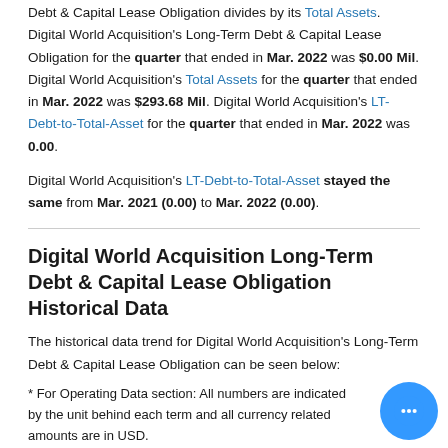Debt & Capital Lease Obligation divides by its Total Assets. Digital World Acquisition's Long-Term Debt & Capital Lease Obligation for the quarter that ended in Mar. 2022 was $0.00 Mil. Digital World Acquisition's Total Assets for the quarter that ended in Mar. 2022 was $293.68 Mil. Digital World Acquisition's LT-Debt-to-Total-Asset for the quarter that ended in Mar. 2022 was 0.00.
Digital World Acquisition's LT-Debt-to-Total-Asset stayed the same from Mar. 2021 (0.00) to Mar. 2022 (0.00).
Digital World Acquisition Long-Term Debt & Capital Lease Obligation Historical Data
The historical data trend for Digital World Acquisition's Long-Term Debt & Capital Lease Obligation can be seen below:
* For Operating Data section: All numbers are indicated by the unit behind each term and all currency related amounts are in USD.
* For other sections: All numbers are in millions except for